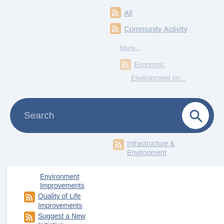All
Community Activity
[Figure (screenshot): Search bar with dark blue rounded pill background and white magnifying glass button on right]
Infrastructure & Environment Improvements
Quality of Life Improvements
Suggest a New Initiative
Calendar
All
Aquatic Center
Civic Center Calendar